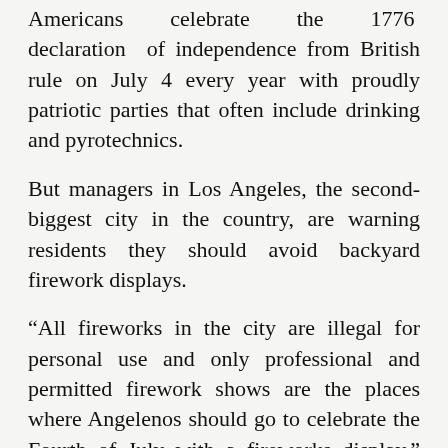Americans celebrate the 1776 declaration of independence from British rule on July 4 every year with proudly patriotic parties that often include drinking and pyrotechnics.
But managers in Los Angeles, the second-biggest city in the country, are warning residents they should avoid backyard firework displays.
“All fireworks in the city are illegal for personal use and only professional and permitted firework shows are the places where Angelenos should go to celebrate the Fourth of July with a fireworks display,” City Attorney Mike Feuer said.
“The risk of devastating, quickly spreading fires sparked by fireworks is severe this year, not to mention the ever-present threat of serious, life-